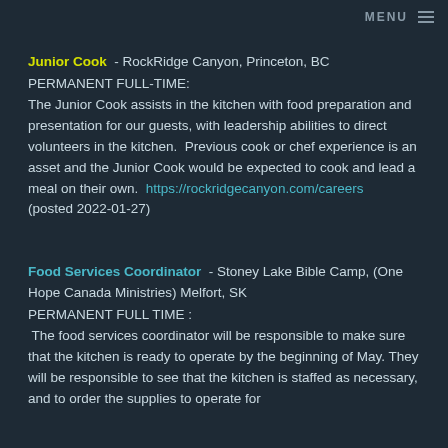MENU ≡
Junior Cook - RockRidge Canyon, Princeton, BC PERMANENT FULL-TIME: The Junior Cook assists in the kitchen with food preparation and presentation for our guests, with leadership abilities to direct volunteers in the kitchen. Previous cook or chef experience is an asset and the Junior Cook would be expected to cook and lead a meal on their own. https://rockridgecanyon.com/careers (posted 2022-01-27)
Food Services Coordinator - Stoney Lake Bible Camp, (One Hope Canada Ministries) Melfort, SK PERMANENT FULL TIME : The food services coordinator will be responsible to make sure that the kitchen is ready to operate by the beginning of May. They will be responsible to see that the kitchen is staffed as necessary, and to order the supplies to operate for